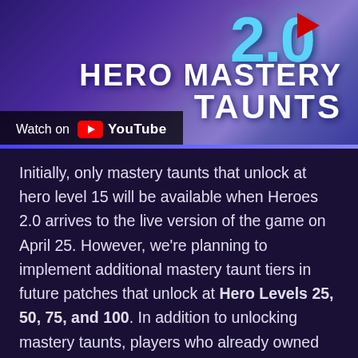[Figure (screenshot): YouTube video thumbnail showing Heroes 2.0 Hero Mastery Taunts with a purple/blue space background, large '2.0' text in cyan, 'HERO MASTERY TAUNTS' text in white, and a YouTube 'Watch on YouTube' badge in the bottom left]
Initially, only mastery taunts that unlock at hero level 15 will be available when Heroes 2.0 arrives to the live version of the game on April 25. However, we're planning to implement additional mastery taunt tiers in future patches that unlock at Hero Levels 25, 50, 75, and 100. In addition to unlocking mastery taunts, players who already owned master skins prior to Heroes 2.0 will retain those skins, and permanently gain access to both of their skin variations after release day.